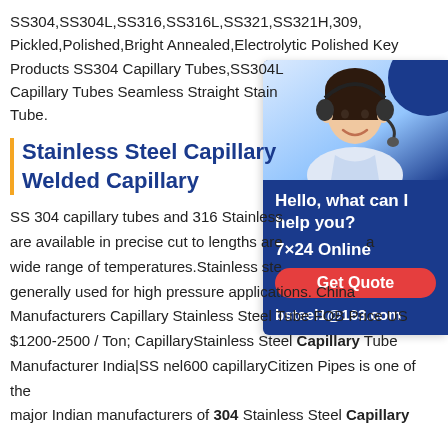SS304,SS304L,SS316,SS316L,SS321,SS321H,309, Pickled,Polished,Bright Annealed,Electrolytic Polished Key Products SS304 Capillary Tubes,SS304L Capillary Tubes Seamless Straight Stainless Tube.
[Figure (photo): Customer service representative wearing a headset, smiling. Sidebar with dark blue background showing 'Hello, what can I help you?', '7×24 Online', 'Get Quote' button in red, and 'bsteel1@163.com']
Stainless Steel Capillary Welded Capillary
SS 304 capillary tubes and 316 Stainless Steel Tubes are available in precise cut to lengths are wide range of temperatures.Stainless steel capillary tubes generally used for high pressure applications. China Manufacturers Capillary Stainless Steel Tube FOB Price US $1200-2500 / Ton; CapillaryStainless Steel Capillary Tube Manufacturer India|SS nel600 capillaryCitizen Pipes is one of the major Indian manufacturers of 304 Stainless Steel Capillary Tubes, 304 Capillary Tubes, ISO Certified Suppliers of High Quality